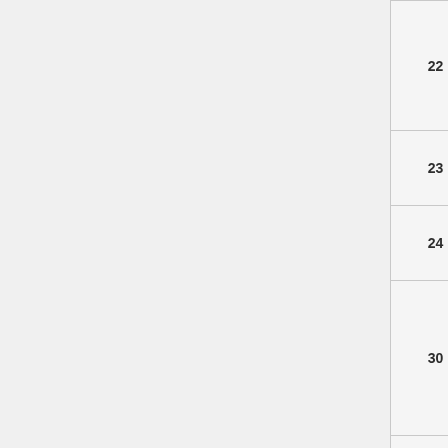|  |  |  | BA DeviceNr.MSB | BA DeviceNr... |
| --- | --- | --- | --- | --- |
| 22 | 0 | BA DeviceNr.MSB | BA DeviceNr... |
| 23 | 0 | 0 | ID2 |
| 24 | 0 | 0 | ID3 |
| 30 | 0 | position | ID2 |